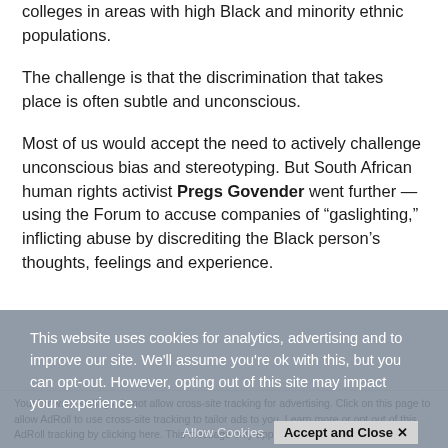colleges in areas with high Black and minority ethnic populations.
The challenge is that the discrimination that takes place is often subtle and unconscious.
Most of us would accept the need to actively challenge unconscious bias and stereotyping. But South African human rights activist Pregs Govender went further — using the Forum to accuse companies of “gaslighting,” inflicting abuse by discrediting the Black person’s thoughts, feelings and experience.
This website uses cookies for analytics, advertising and to improve our site. We'll assume you're ok with this, but you can opt-out. However, opting out of this site may impact your experience.
Your browser settings do not allow cross-site tracking for advertising. Click on this page to allow AdRoll to use cross-site tracking to tailor ads to you. Learn more or opt out of this AdRoll tracking by clicking here. This message only appears once.